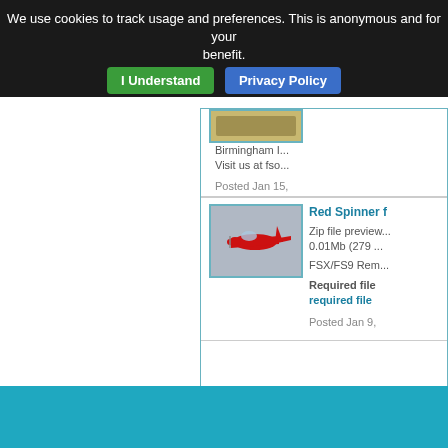We use cookies to track usage and preferences. This is anonymous and for your benefit.
I Understand
Privacy Policy
Birmingham ...   Visit us at fso...
Posted Jan 15,
Red Spinner f
Zip file preview... 0.01Mb (279 ...
FSX/FS9 Rem...
Required file... required file
Posted Jan 9,
[Figure (photo): Red spinner aircraft in flight, red monoplane against grey sky]